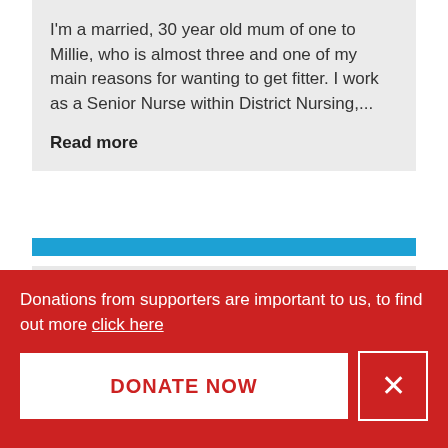I'm a married, 30 year old mum of one to Millie, who is almost three and one of my main reasons for wanting to get fitter. I work as a Senior Nurse within District Nursing,...
Read more
[Figure (other): Blue horizontal bar separator]
[Figure (other): Light grey card/content block (partially visible, bottom portion cut off)]
Donations from supporters are important to us, to find out more click here
DONATE NOW